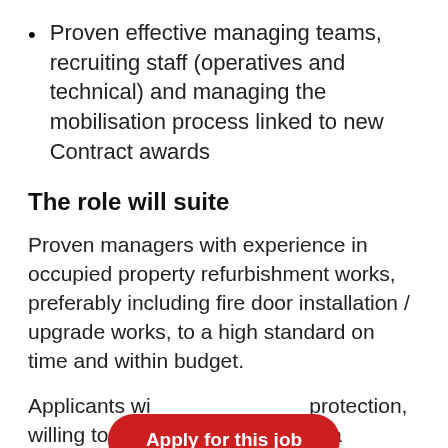Proven effective managing teams, recruiting staff (operatives and technical) and managing the mobilisation process linked to new Contract awards
The role will suite
Proven managers with experience in occupied property refurbishment works, preferably including fire door installation / upgrade works, to a high standard on time and within budget.
Applicants wi... protection, willing to lea... through a programme of industry specific training.